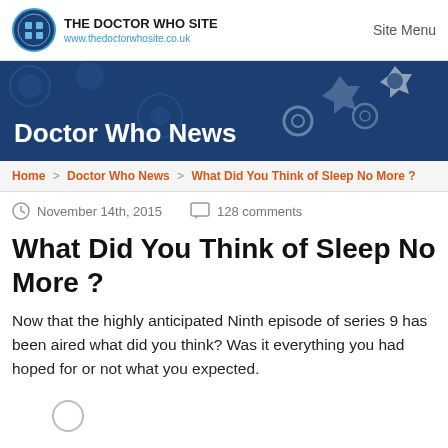THE DOCTOR WHO SITE www.thedoctorwhosite.co.uk | Site Menu
[Figure (illustration): Doctor Who Site logo with TARDIS icon and decorative gears on dark blue banner background]
Doctor Who News
Home > Doctor Who News > What Did You Think of Sleep No More ?
November 14th, 2015   128 comments
What Did You Think of Sleep No More ?
Now that the highly anticipated Ninth episode of series 9 has been aired what did you think? Was it everything you had hoped for or not what you expected.